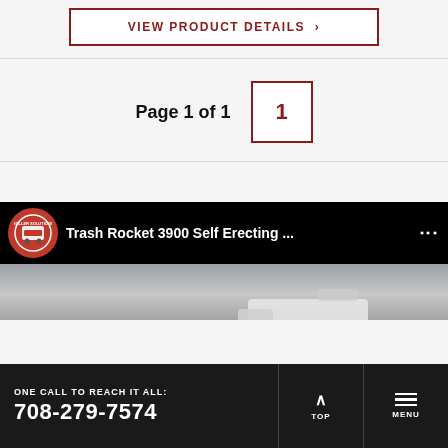VIEW PRODUCT DETAILS >
Page 1 of 1  1
[Figure (screenshot): YouTube video thumbnail for 'Trash Rocket 3900 Self Erecting ...' with company logo and vehicle image]
ONE CALL TO REACH IT ALL: 708-279-7574  TOP  MENU